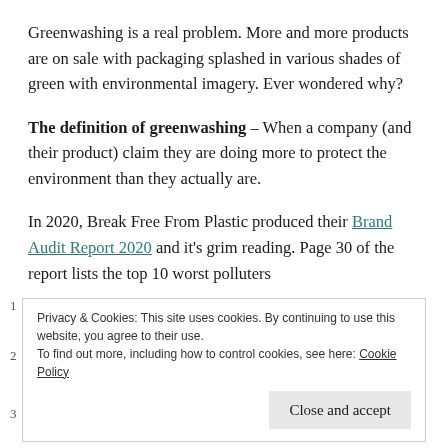Greenwashing is a real problem. More and more products are on sale with packaging splashed in various shades of green with environmental imagery. Ever wondered why?
The definition of greenwashing – When a company (and their product) claim they are doing more to protect the environment than they actually are.
In 2020, Break Free From Plastic produced their Brand Audit Report 2020 and it's grim reading. Page 30 of the report lists the top 10 worst polluters
Privacy & Cookies: This site uses cookies. By continuing to use this website, you agree to their use. To find out more, including how to control cookies, see here: Cookie Policy. Close and accept